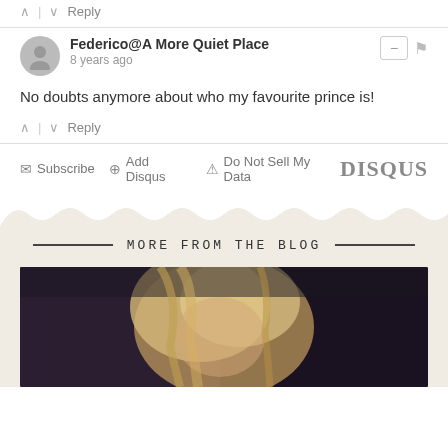^ | v  Reply
Federico@A More Quiet Place
8 years ago
No doubts anymore about who my favourite prince is!
^ | v  Reply
✉ Subscribe  ⊕ Add Disqus  ⚠ Do Not Sell My Data   DISQUS
MORE FROM THE BLOG
[Figure (photo): A blonde woman partially visible, dark background]